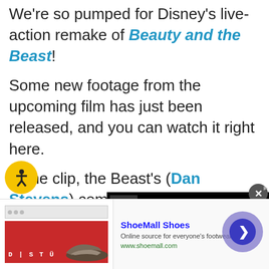We're so pumped for Disney's live-action remake of Beauty and the Beast! Some new footage from the upcoming film has just been released, and you can watch it right here. In the clip, the Beast's (Dan Stevens) companions - including Cogsworth (Ian McKellen), Mrs. Potts (Emma Thompson), and Lumiere (Ewan McGregor) - give him their best advice on how to woo Belle (Emma Watson).
[Figure (screenshot): Video overlay - dark black box in top right with close (X) button]
[Figure (logo): Yellow circular accessibility icon with person figure, bottom left]
[Figure (screenshot): Advertisement banner: ShoeMall Shoes - Online source for everyone's footwear - www.shoemall.com, with shoe image and DISTU branding, navigation arrow on right]